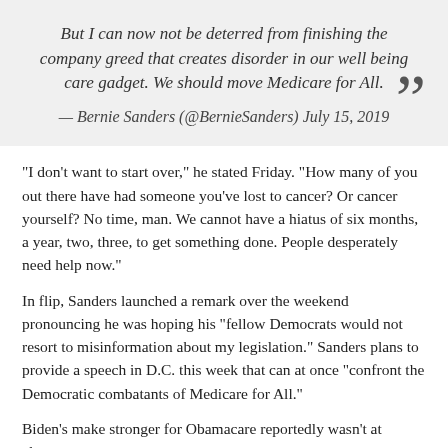But I can now not be deterred from finishing the company greed that creates disorder in our well being care gadget. We should move Medicare for All.
— Bernie Sanders (@BernieSanders) July 15, 2019
“I don’t want to start over,” he stated Friday. “How many of you out there have had someone you’ve lost to cancer? Or cancer yourself? No time, man. We cannot have a hiatus of six months, a year, two, three, to get something done. People desperately need help now.”
In flip, Sanders launched a remark over the weekend pronouncing he was hoping his “fellow Democrats would not resort to misinformation about my legislation.” Sanders plans to provide a speech in D.C. this week that can at once “confront the Democratic combatants of Medicare for All.”
Biden’s make stronger for Obamacare reportedly wasn’t at al so sturdy. In the early years of the Obama management, the